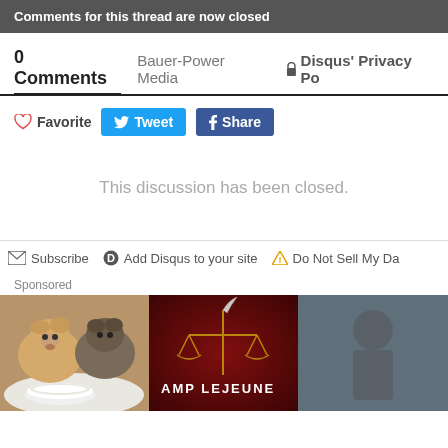Comments for this thread are now closed
0 Comments   Bauer-Power Media   🔒 Disqus' Privacy Po
♡ Favorite   Tweet   Share
This discussion has been closed.
✉ Subscribe   D Add Disqus to your site   ⚠ Do Not Sell My Da
Sponsored
[Figure (photo): Two golden puppies eating from a white bowl]
[Figure (photo): Camp Lejeune legal advertisement with scales of justice]
[Figure (photo): Partially visible third sponsored image on right edge]